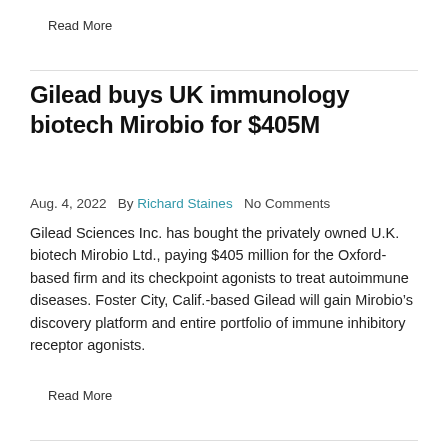Read More
Gilead buys UK immunology biotech Mirobio for $405M
Aug. 4, 2022   By Richard Staines   No Comments
Gilead Sciences Inc. has bought the privately owned U.K. biotech Mirobio Ltd., paying $405 million for the Oxford-based firm and its checkpoint agonists to treat autoimmune diseases. Foster City, Calif.-based Gilead will gain Mirobio’s discovery platform and entire portfolio of immune inhibitory receptor agonists.
Read More